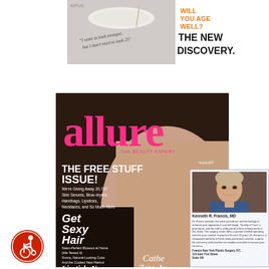[Figure (photo): Top advertisement image: magazine-style ad with the text 'WILL YOU AGE WELL? THE NEW DISCOVERY.' in black and orange text, with a woman's photo and a plate/spoon, plus cursive text 'I want to look younger, but I don't need to look 25']
[Figure (photo): Allure magazine cover featuring Catherine Zeta-Jones. Pink 'allure' logo, 'THE BEAUTY EXPERT', AUGUST issue. Headlines: 'THE FREE STUFF ISSUE!', 'We're Giving Away 20,787 Skin Serums, Blow-dryers, Handbags, Lipsticks, Necklaces, and So Much More', 'Get Sexy Hair', 'Salon-Perfect Blowout at Home (We Tested It)', 'Sunny, Natural-Looking Color', 'And the Coolest New Haircut', 'Lipstick, New And Improved', '27 Perfect Shades']
[Figure (photo): Doctor advertisement box for Kenneth R. Francis, MD with his photo and text about plastic surgery practice. Address: Francis New York Plastic Surgery, P.C., 114 East 71st Street, Suite 1W]
[Figure (illustration): Wheelchair accessibility symbol - red circle with white wheelchair user icon]